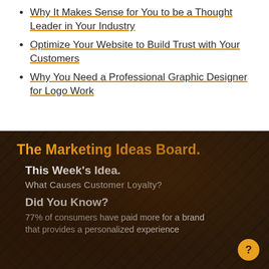Why It Makes Sense for You to be a Thought Leader in Your Industry
Optimize Your Website to Build Trust with Your Customers
Why You Need a Professional Graphic Designer for Logo Work
The Marketing Ideas Board.
This Week's Idea.
What Causes Customer Loyalty?
Did You Know?
77% of consumers have paid more for a brand that provides a personalized experience